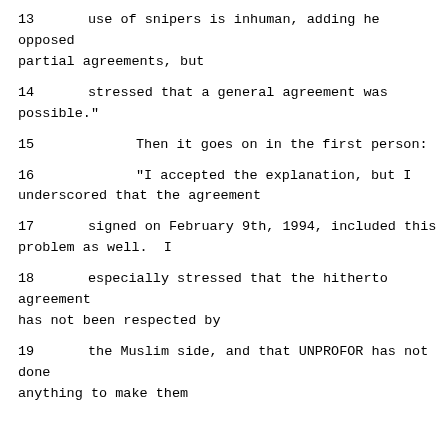13   use of snipers is inhuman, adding he opposed partial agreements, but
14   stressed that a general agreement was possible."
15         Then it goes on in the first person:
16         "I accepted the explanation, but I underscored that the agreement
17   signed on February 9th, 1994, included this problem as well.  I
18   especially stressed that the hitherto agreement has not been respected by
19   the Muslim side, and that UNPROFOR has not done anything to make them